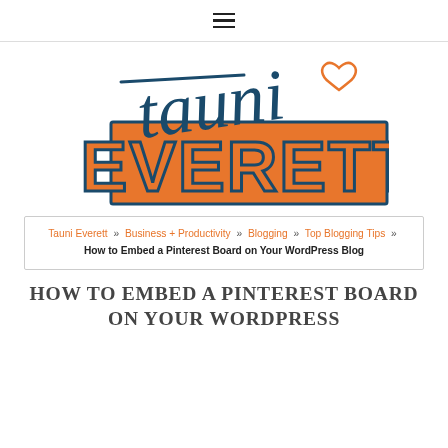≡ (navigation menu icon)
[Figure (logo): Tauni Everett logo: cursive 'tauni' in dark teal handwritten script overlaid with large blocky 'EVERETT' in orange with dark teal outline, and a small orange heart outline]
Tauni Everett » Business + Productivity » Blogging » Top Blogging Tips » How to Embed a Pinterest Board on Your WordPress Blog
HOW TO EMBED A PINTEREST BOARD ON YOUR WORDPRESS